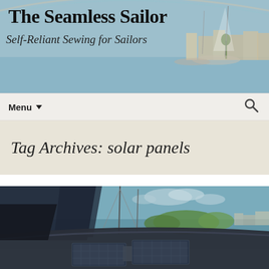The Seamless Sailor
Self-Reliant Sewing for Sailors
Menu
Tag Archives: solar panels
[Figure (photo): View from the deck of a sailboat showing flexible solar panels mounted on the deck, with water, green trees, and a marina in the background under a partly cloudy sky.]